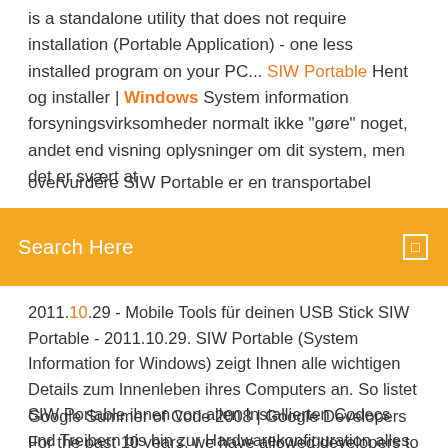is a standalone utility that does not require installation (Portable Application) - one less installed program on your PC... SIW Portable Hent og installer | Windows System information forsyningsvirksomheder normalt ikke "gøre" noget, andet end visning oplysninger om dit system, men det er svært at overvurdere SIW Portable er en transportabel udgave af System
[Figure (other): Orange search bar overlay with text 'Search Here' and a search icon on the right]
2011.10.29 - Mobile Tools für deinen USB Stick SIW Portable - 2011.10.29. SIW Portable (System Information for Windows) zeigt Ihnen alle wichtigen Details zum Innenleben ihres Computers an. So listet SIW Portable ihnen von allen Installierten Codecs und Treibern bis hin zur Hardwarekonfiguration alles übersichtlich auf.
Google Summer of Code 2008 | Google Developers For the past 10 years, we have allowed developers to work full-time on free